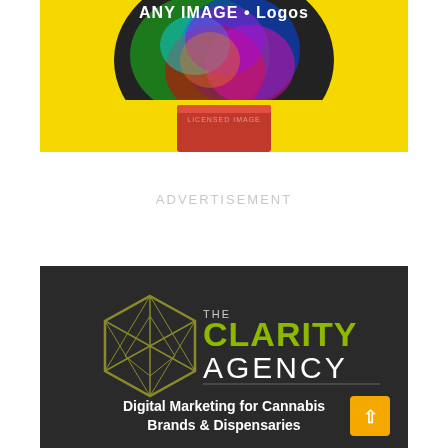[Figure (photo): Colorful abstract marbled swirl image on yellow background with text 'ANY IMAGE • Logos' at top, and a red pedestal/block below]
ADVERTISEMENT
[Figure (logo): The Clarity Agency logo and branding on dark grey background. Geometric hexagonal cannabis leaf logo on left, text 'THE CLARITY AGENCY' in white and olive/green on right, with tagline 'Digital Marketing for Cannabis Brands & Dispensaries']